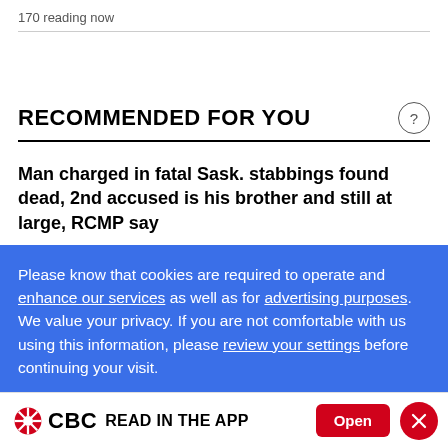170 reading now
RECOMMENDED FOR YOU
Man charged in fatal Sask. stabbings found dead, 2nd accused is his brother and still at large, RCMP say
Please know that cookies are required to operate and enhance our services as well as for advertising purposes. We value your privacy. If you are not comfortable with us using this information, please review your settings before continuing your visit.
CBC READ IN THE APP  Open